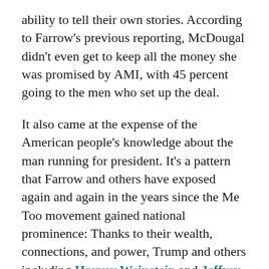ability to tell their own stories. According to Farrow's previous reporting, McDougal didn't even get to keep all the money she was promised by AMI, with 45 percent going to the men who set up the deal.
It also came at the expense of the American people's knowledge about the man running for president. It's a pattern that Farrow and others have exposed again and again in the years since the Me Too movement gained national prominence: Thanks to their wealth, connections, and power, Trump and others including Harvey Weinstein and Jeffrey Epstein have been able to write the public narrative of their lives, deciding who gets to speak and who must keep silent.
The Me Too...